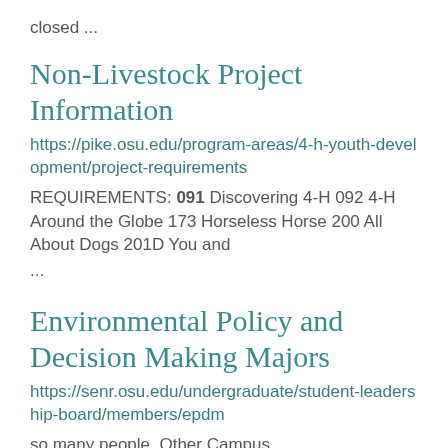closed ...
Non-Livestock Project Information
https://pike.osu.edu/program-areas/4-h-youth-development/project-requirements
REQUIREMENTS: 091 Discovering 4-H 092 4-H Around the Globe 173 Horseless Horse 200 All About Dogs 201D You and
...
Environmental Policy and Decision Making Majors
https://senr.osu.edu/undergraduate/student-leadership-board/members/epdm
so many people. Other Campus